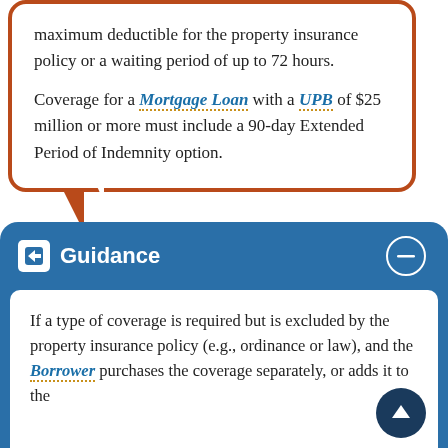maximum deductible for the property insurance policy or a waiting period of up to 72 hours.
Coverage for a Mortgage Loan with a UPB of $25 million or more must include a 90-day Extended Period of Indemnity option.
Guidance
If a type of coverage is required but is excluded by the property insurance policy (e.g., ordinance or law), and the Borrower purchases the coverage separately, or adds it to the